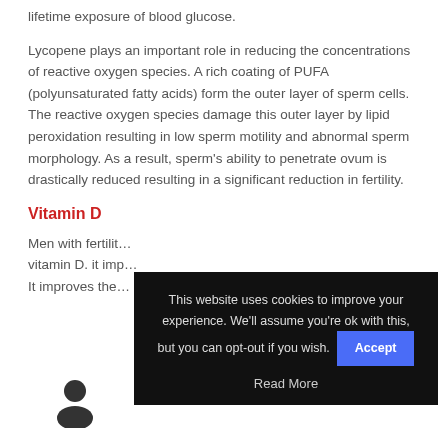lifetime exposure of blood glucose.
Lycopene plays an important role in reducing the concentrations of reactive oxygen species. A rich coating of PUFA (polyunsaturated fatty acids) form the outer layer of sperm cells. The reactive oxygen species damage this outer layer by lipid peroxidation resulting in low sperm motility and abnormal sperm morphology. As a result, sperm’s ability to penetrate ovum is drastically reduced resulting in a significant reduction in fertility.
Vitamin D
Men with fertility... vitamin D. it imp... It improves the...
[Figure (screenshot): Cookie consent overlay popup with dark background. Text: 'This website uses cookies to improve your experience. We'll assume you're ok with this, but you can opt-out if you wish.' with an Accept button and Read More link.]
[Figure (illustration): User/person silhouette icon at bottom left of page]